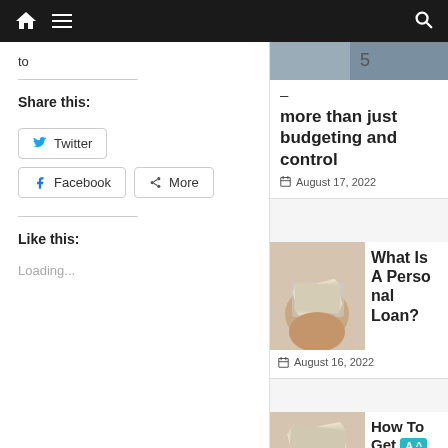Navigation bar with home, menu, and search icons
to
Share this:
Twitter
Facebook
More
Like this:
Loading...
–
more than just budgeting and control
August 17, 2022
[Figure (photo): Person holding a fan of US dollar bills]
What Is A Personal Loan?
August 16, 2022
[Figure (photo): Person holding a bundle of US dollar bills]
How To Get A Payd
ay Loan By Your